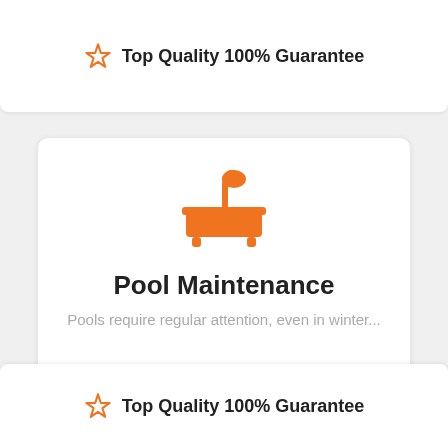Top Quality 100% Guarantee
[Figure (illustration): Orange bathtub icon with shower head, representing pool/bath maintenance service]
Pool Maintenance
Pools require regular attention, even in winter...
Top Quality 100% Guarantee